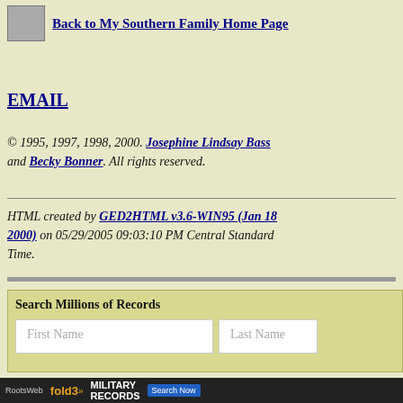Back to My Southern Family Home Page
EMAIL
© 1995, 1997, 1998, 2000.  Josephine Lindsay Bass and Becky Bonner.   All rights reserved.
HTML created by GED2HTML v3.6-WIN95 (Jan 18 2000) on 05/29/2005 09:03:10 PM Central Standard Time.
Search Millions of Records
[Figure (screenshot): Search form with First Name and Last Name input fields]
[Figure (screenshot): Fold3 Military Records advertisement banner with RootsWeb branding]